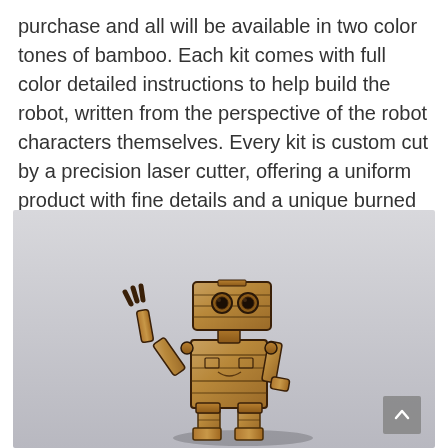purchase and all will be available in two color tones of bamboo. Each kit comes with full color detailed instructions to help build the robot, written from the perspective of the robot characters themselves. Every kit is custom cut by a precision laser cutter, offering a uniform product with fine details and a unique burned wood finish look.
[Figure (photo): A wooden laser-cut robot figure posed against a light gray background. The robot has a boxy head with two circular eyes, articulated arms (one raised as if waving), a box-shaped torso, and legs. The robot is made from bamboo wood with a burned wood finish showing dark laser-cut edges.]